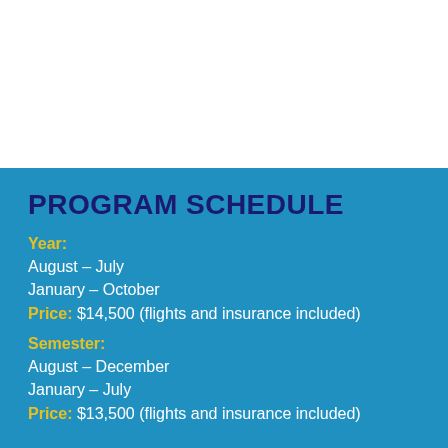PROGRAM SCHEDULE
Year:
August – July
January – October
Price:  $14,500  (flights and insurance included)
Semester:
August – December
January – July
Price:  $13,500  (flights and insurance included)